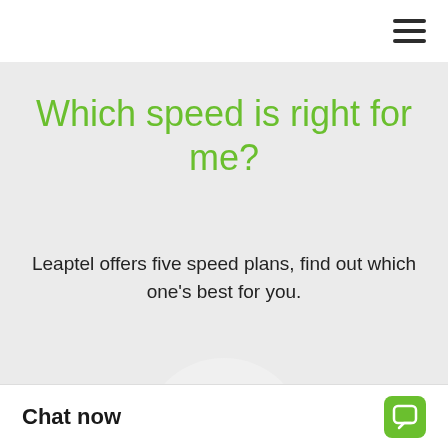[Figure (other): Hamburger menu icon (three horizontal lines) in top right corner of navigation bar]
Which speed is right for me?
Leaptel offers five speed plans, find out which one's best for you.
[Figure (illustration): Circular icon illustration showing a browser/document window with a green top bar, yellow rectangle, horizontal lines representing text, a document page overlapping, and a cursor/mouse pointer arrow]
Chat now